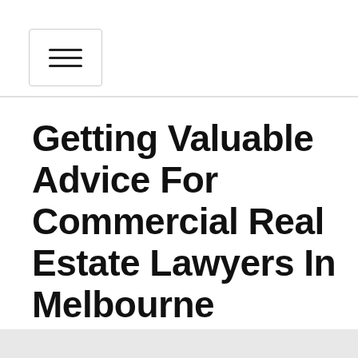≡ (hamburger menu icon)
Getting Valuable Advice For Commercial Real Estate Lawyers In Melbourne
[Figure (infographic): Social share buttons: Facebook (blue circle with f), Google+ (red circle with g+), Twitter (light blue circle with bird icon), plus/share button (dark blue circle with + icon)]